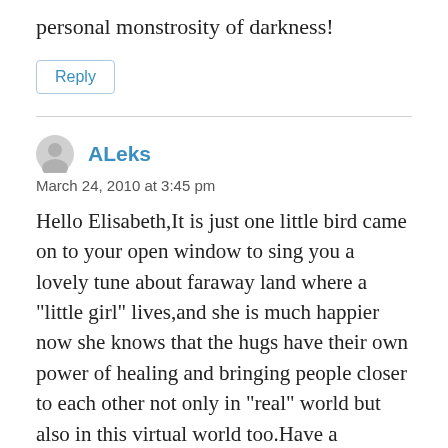personal monstrosity of darkness!
Reply
ALeks
March 24, 2010 at 3:45 pm
Hello Elisabeth,It is just one little bird came on to your open window to sing you a lovely tune about faraway land where a "little girl" lives,and she is much happier now she knows that the hugs have their own power of healing and bringing people closer to each other not only in "real" world but also in this virtual world too.Have a wonderful day and you have